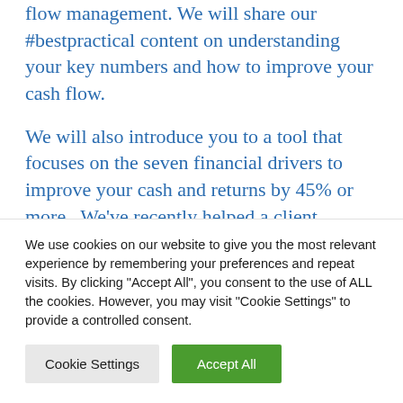flow management. We will share our #bestpractical content on understanding your key numbers and how to improve your cash flow.
We will also introduce you to a tool that focuses on the seven financial drivers to improve your cash and returns by 45% or more. We've recently helped a client improve their cash flow by 81%, from an already healthy position. This was a result of the leadership team learning and understanding more
We use cookies on our website to give you the most relevant experience by remembering your preferences and repeat visits. By clicking "Accept All", you consent to the use of ALL the cookies. However, you may visit "Cookie Settings" to provide a controlled consent.